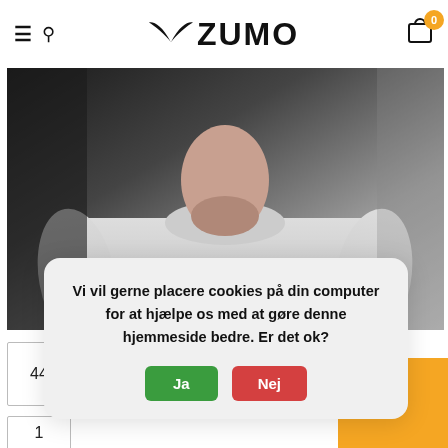ZUMO — navigation header with hamburger menu, search icon, logo, and cart badge showing 0
[Figure (photo): Man wearing a white fitted t-shirt against a dark background, product photo for clothing e-commerce]
44
1
Vi vil gerne placere cookies på din computer for at hjælpe os med at gøre denne hjemmeside bedre. Er det ok? Ja / Nej